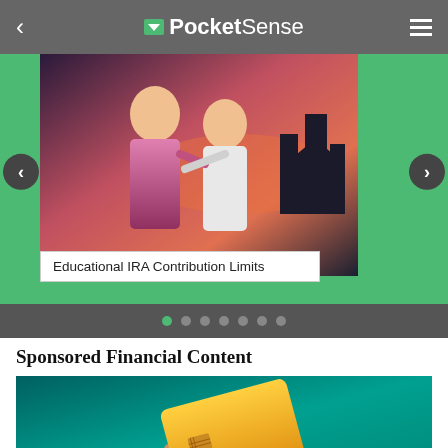PocketSense
[Figure (photo): Two young children posing outdoors at sunset, colorful sky in background]
Educational IRA Contribution Limits
Sponsored Financial Content
[Figure (photo): A hand holding up a gold credit card against a teal background]